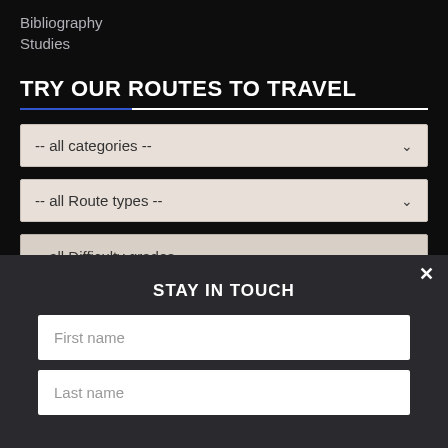Bibliography
Studies
TRY OUR ROUTES TO TRAVEL
-- all categories --
-- all Route types --
-- all Difficulty grades --
STAY IN TOUCH
First name
Last name